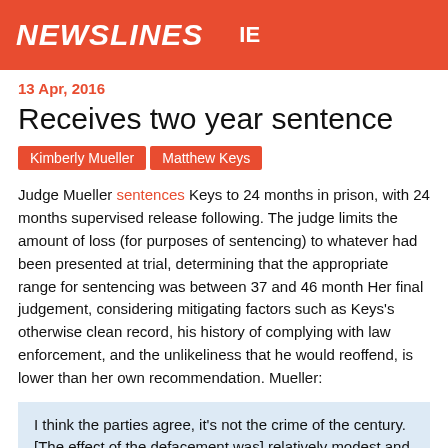NEWSLINES
13 Apr, 2016
Receives two year sentence
Kimberly Mueller
Matthew Keys
Judge Mueller sentences Keys to 24 months in prison, with 24 months supervised release following. The judge limits the amount of loss (for purposes of sentencing) to whatever had been presented at trial, determining that the appropriate range for sentencing was between 37 and 46 month Her final judgement, considering mitigating factors such as Keys's otherwise clean record, his history of complying with law enforcement, and the unlikeliness that he would reoffend, is lower than her own recommendation. Mueller:
I think the parties agree, it's not the crime of the century. [The effect of the defacement was] relatively modest and did not do much to actually damage the reputation of that publication [but that she could not ignore that his] intent was